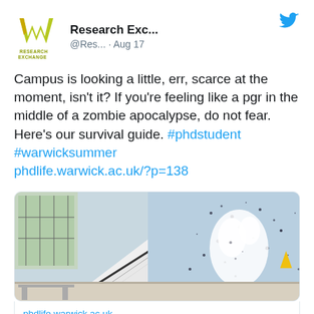[Figure (logo): Research Exchange logo — green/yellow W shape above text RESEARCH EXCHANGE]
Research Exc... @Res... · Aug 17
[Figure (logo): Twitter bird icon in blue]
Campus is looking a little, err, scarce at the moment, isn't it? If you're feeling like a pgr in the middle of a zombie apocalypse, do not fear. Here's our survival guide. #phdstudent #warwicksummer phdlife.warwick.ac.uk/?p=138
[Figure (photo): Interior of a university building showing a staircase with white walls and a large mural of blue and black splattered paint pattern, with yellow wet floor signs at the bottom]
phdlife.warwick.ac.uk
28 Days Later; or, how to survive the summer as a postgraduate